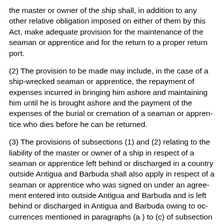the master or owner of the ship shall, in addition to any other relative obligation imposed on either of them by this Act, make adequate provision for the maintenance of the seaman or apprentice and for the return to a proper return port.
(2) The provision to be made may include, in the case of a ship-wrecked seaman or apprentice, the repayment of expenses incurred in bringing him ashore and maintaining him until he is brought ashore and the payment of the expenses of the burial or cremation of a seaman or apprentice who dies before he can be returned.
(3) The provisions of subsections (1) and (2) relating to the liability of the master or owner of a ship in respect of a seaman or apprentice left behind or discharged in a country outside Antigua and Barbuda shall also apply in respect of a seaman or apprentice who was signed on under an agreement entered into outside Antigua and Barbuda and is left behind or discharged in Antigua and Barbuda owing to occurrences mentioned in paragraphs (a ) to (c) of subsection ( 1 ) .